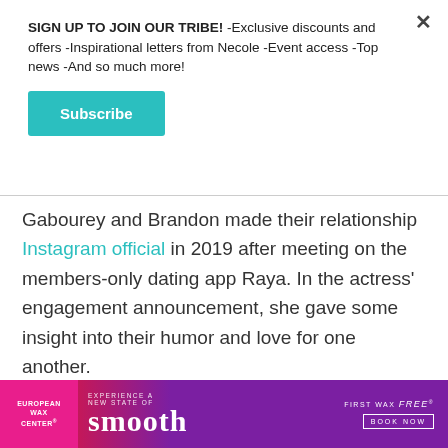SIGN UP TO JOIN OUR TRIBE! -Exclusive discounts and offers -Inspirational letters from Necole -Event access -Top news -And so much more!
Subscribe
Gabourey and Brandon made their relationship Instagram official in 2019 after meeting on the members-only dating app Raya. In the actress' engagement announcement, she gave some insight into their humor and love for one another.
[Figure (other): Advertisement banner for European Wax Center showing 'Experience a New State of Smooth - First Wax Free - Book Now' in purple and pink colors]